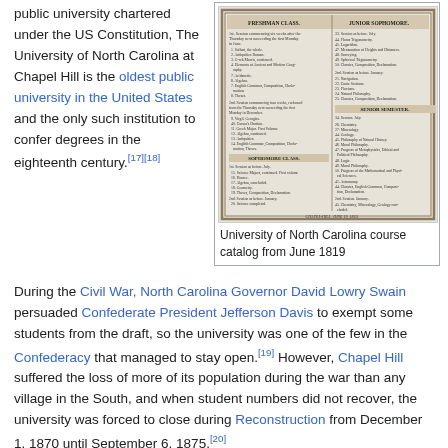public university chartered under the US Constitution, The University of North Carolina at Chapel Hill is the oldest public university in the United States and the only such institution to confer degrees in the eighteenth century.[17][18]
[Figure (photo): University of North Carolina course catalog from June 1819, showing a historical printed document with columns listing freshman, sophomore, junior and senior class courses.]
University of North Carolina course catalog from June 1819
During the Civil War, North Carolina Governor David Lowry Swain persuaded Confederate President Jefferson Davis to exempt some students from the draft, so the university was one of the few in the Confederacy that managed to stay open.[19] However, Chapel Hill suffered the loss of more of its population during the war than any village in the South, and when student numbers did not recover, the university was forced to close during Reconstruction from December 1, 1870 until September 6, 1875.[20]